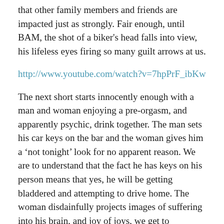that other family members and friends are impacted just as strongly. Fair enough, until BAM, the shot of a biker's head falls into view, his lifeless eyes firing so many guilt arrows at us.
http://www.youtube.com/watch?v=7hpPrF_ibKw
The next short starts innocently enough with a man and woman enjoying a pre-orgasm, and apparently psychic, drink together. The man sets his car keys on the bar and the woman gives him a ‘not tonight’ look for no apparent reason. We are to understand that the fact he has keys on his person means that yes, he will be getting bladdered and attempting to drive home. The woman disdainfully projects images of suffering into his brain, and joy of joys, we get to experience them too.
Not really it's all Peugeot dot effects and rich in context and...